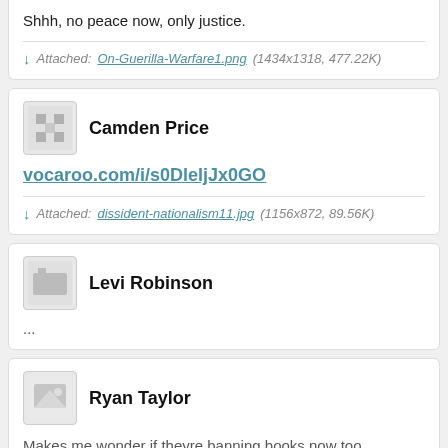Shhh, no peace now, only justice.
Attached: On-Guerilla-Warfare1.png (1434x1318, 477.22K)
Camden Price
vocaroo.com/i/s0DleljJx0GO
Attached: dissident-nationalism11.jpg (1156x872, 89.56K)
Levi Robinson
...
Ryan Taylor
Makes me wonder if theyre banning books now too.
Gavin Thomas